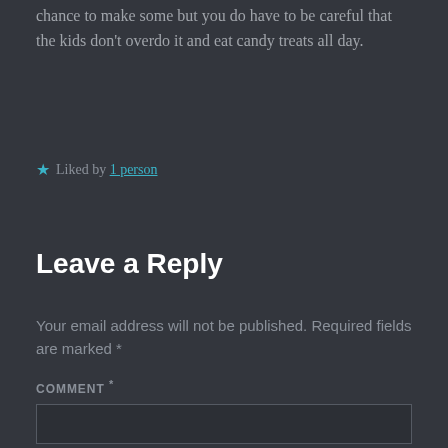chance to make some but you do have to be careful that the kids don't overdo it and eat candy treats all day.
★ Liked by 1 person
Leave a Reply
Your email address will not be published. Required fields are marked *
COMMENT *